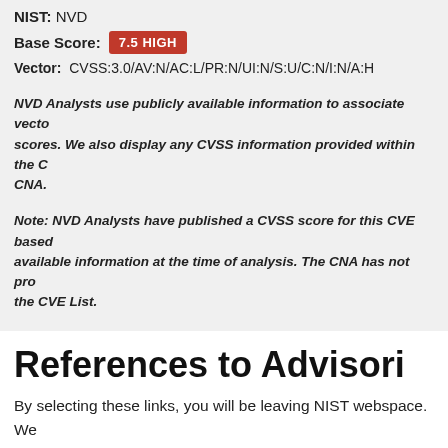NIST: NVD
Base Score: 7.5 HIGH
Vector: CVSS:3.0/AV:N/AC:L/PR:N/UI:N/S:U/C:N/I:N/A:H
NVD Analysts use publicly available information to associate vectors and scores. We also display any CVSS information provided within the CNA.
Note: NVD Analysts have published a CVSS score for this CVE based on available information at the time of analysis. The CNA has not provided a score on the CVE List.
References to Advisories, Soluti
By selecting these links, you will be leaving NIST webspace. We have provided these links to other web sites because they may have information that would be of interest to you. No inferences should be drawn on account of other sites being referenced